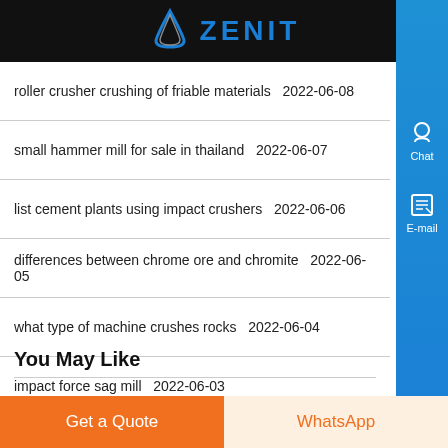ZENIT
roller crusher crushing of friable materials  2022-06-08
small hammer mill for sale in thailand  2022-06-07
list cement plants using impact crushers  2022-06-06
differences between chrome ore and chromite  2022-06-05
what type of machine crushes rocks  2022-06-04
impact force sag mill  2022-06-03
You May Like
herb mill wet and dry